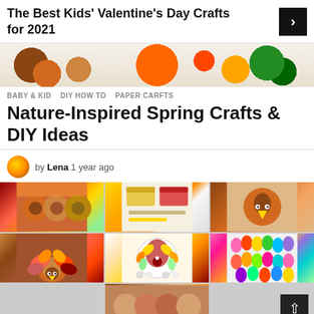The Best Kids’ Valentine’s Day Crafts for 2021
[Figure (photo): Banner collage of colorful craft projects including flowers and decorations]
BABY & KID   DIY HOW TO   PAPER CARFTS
Nature-Inspired Spring Crafts & DIY Ideas
by Lena 1 year ago
[Figure (photo): Grid of 6 craft images: terra cotta pot turkeys, snack/lunch boxes, turkey card, paper turkey, fruit/veggie turkey platter, colorful felt leaves, fall table decor]